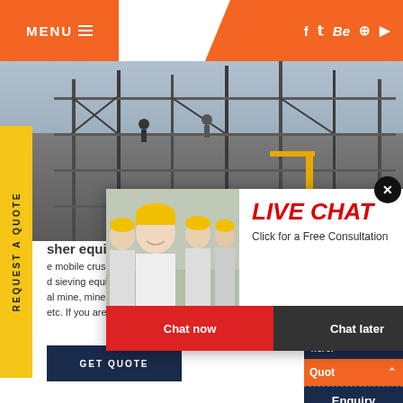MENU  ≡  [social icons: f  t  Be  ⊙  ▶]
[Figure (photo): Construction site with scaffolding and industrial equipment]
REQUEST A QUOTE
sher equi[pment]
e mobile crusher plant is widely used to ma[ke] d sieving equipment in many industries inc[luding] al mine, mineral dressing, building material, etc. If you are looking for a mobile crushing p[lant]
[Figure (photo): Live Chat popup - workers with yellow hard hats, LIVE CHAT heading, Chat now and Chat later buttons]
[Figure (photo): Customer service woman with headset smiling]
Have any requests, click here.
Quota
Enquiry
drobilkalm
GET QUOTE